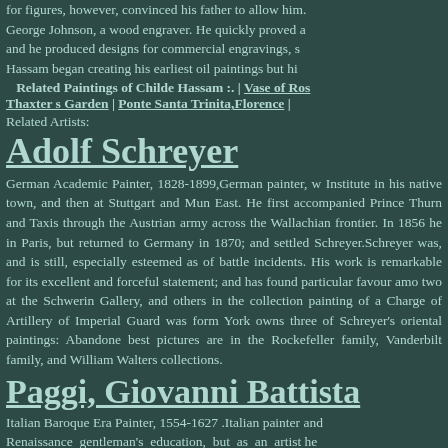for figures, however, convinced his father to allow him. George Johnson, a wood engraver. He quickly proved a and he produced designs for commercial engravings, s Hassam began creating his earliest oil paintings but hi
Related Paintings of Childe Hassam :. | Vase of Ros Thaxter s Garden | Ponte Santa Trinita,Florence |
Related Artists:
Adolf Schreyer
German Academic Painter, 1828-1899,German painter, w Institute in his native town, and then at Stuttgart and Mun East. He first accompanied Prince Thurn and Taxis through the Austrian army across the Wallachian frontier. In 1856 he in Paris, but returned to Germany in 1870; and settled Schreyer.Schreyer was, and is still, especially esteemed as of battle incidents. His work is remarkable for its excellent and forceful statement; and has found particular favour amo two at the Schwerin Gallery, and others in the collection painting of a Charge of Artillery of Imperial Guard was form York owns three of Schreyer's oriental paintings: Abandone best pictures are in the Rockefeller family, Vanderbilt family and William Walters collections.
Paggi, Giovanni Battista
Italian Baroque Era Painter, 1554-1627 .Italian painter and Renaissance gentleman's education, but as an artist he